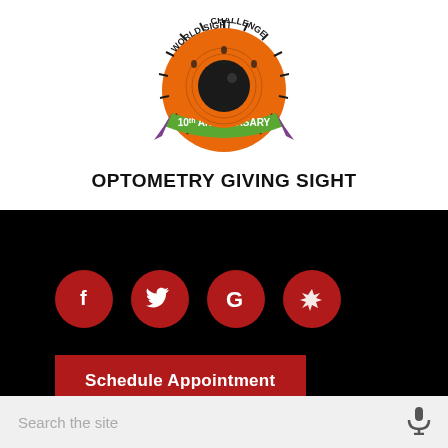[Figure (logo): World Sight Challenge 10th Anniversary logo with eye/iris graphic and Optometry Giving Sight text]
OPTOMETRY GIVING SIGHT
[Figure (infographic): Social media icons: Facebook, Twitter, Google, Yelp - red circular buttons on black background]
Schedule Appointment
Search the site